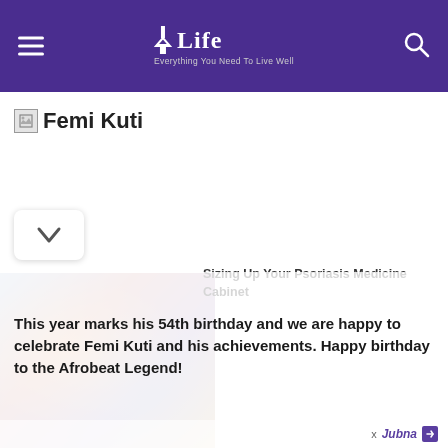Life — Everything You Need To Live Well
[Figure (screenshot): Broken image placeholder icon followed by alt text 'Femi Kuti']
[Figure (photo): Advertisement image showing people in a store/pharmacy setting, overlaid with body text about Femi Kuti's birthday and a Psoriasis Medicine Cabinet ad]
This year marks his 54th birthday and we are happy to celebrate Femi Kuti and his achievements. Happy birthday to the Afrobeat Legend!
Sizing Up Your Psoriasis Medicine Cabinet